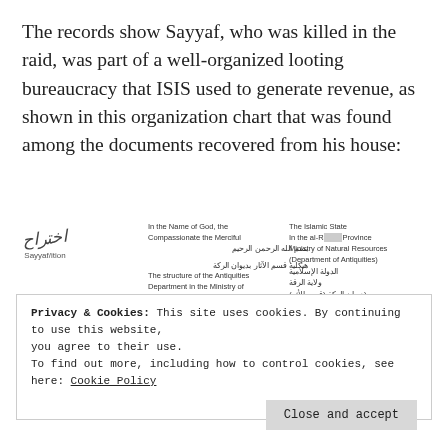The records show Sayyaf, who was killed in the raid, was part of a well-organized looting bureaucracy that ISIS used to generate revenue, as shown in this organization chart that was found among the documents recovered from his house:
[Figure (organizational-chart): ISIS organizational chart for Antiquities Department in the Ministry of Natural Resources. Includes a signature, Arabic text, English translations, and a partial org chart box reading 'The [Emir] of the Department of Antiquities'.]
Privacy & Cookies: This site uses cookies. By continuing to use this website, you agree to their use.
To find out more, including how to control cookies, see here: Cookie Policy